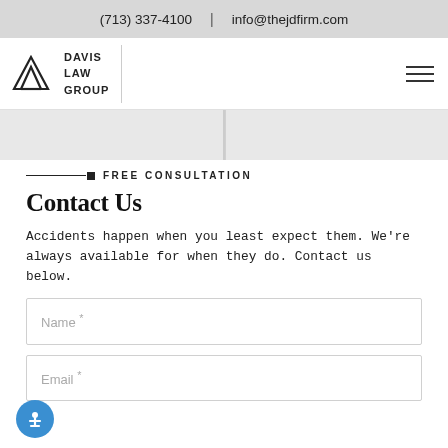(713) 337-4100  |  info@thejdfirm.com
[Figure (logo): Davis Law Group logo with triangle/mountain graphic and text DAVIS LAW GROUP]
FREE CONSULTATION
Contact Us
Accidents happen when you least expect them. We're always available for when they do. Contact us below.
Name *
Email *